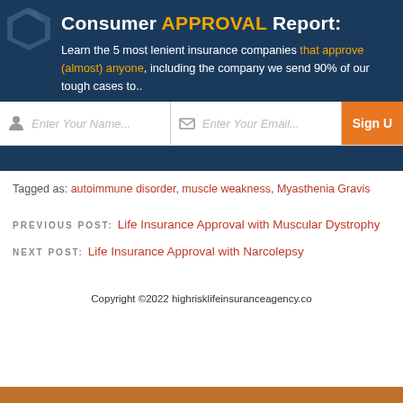Consumer APPROVAL Report:
Learn the 5 most lenient insurance companies that approve (almost) anyone, including the company we send 90% of our tough cases to..
[Figure (screenshot): Web form with name input, email input, and Sign Up button]
Tagged as: autoimmune disorder, muscle weakness, Myasthenia Gravis
PREVIOUS POST: Life Insurance Approval with Muscular Dystrophy
NEXT POST: Life Insurance Approval with Narcolepsy
Copyright ©2022 highrisklifeinsuranceagency.com